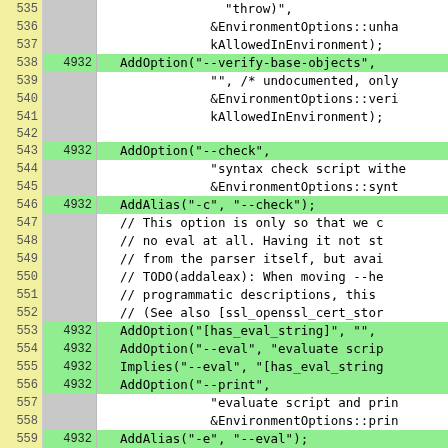[Figure (screenshot): Code diff/coverage view showing lines 535-561 of a source file, with line numbers, coverage counts, and code content. Green highlighted rows indicate covered lines. The code shows AddOption, AddAlias, and Implies calls for command-line option parsing.]